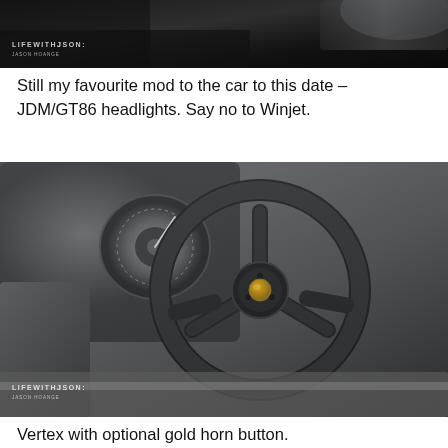[Figure (photo): Partial view of a dark car exterior/headlight area with LIFEWITHJ SON / JASON HOANGE watermark in lower left corner]
Still my favourite mod to the car to this date – JDM/GT86 headlights. Say no to Winjet.
[Figure (photo): Interior view of a car showing a black steering wheel with gold horn button and instrument cluster in the background, with LIFEWITHJ SON / JASON HOANGE watermark in lower left corner]
Vertex with optional gold horn button.